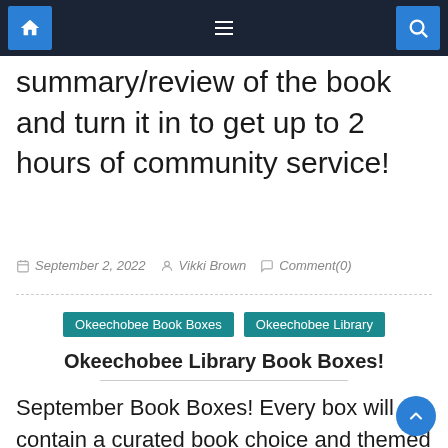Navigation bar with home, menu, and search icons
summary/review of the book and turn it in to get up to 2 hours of community service!
September 2, 2022  Vikki Brown  Comment(0)
Okeechobee Book Boxes  Okeechobee Library
Okeechobee Library Book Boxes!
September Book Boxes! Every box will contain a curated book choice and themed giveaways which can range from bookmarks to fun keychains to everything